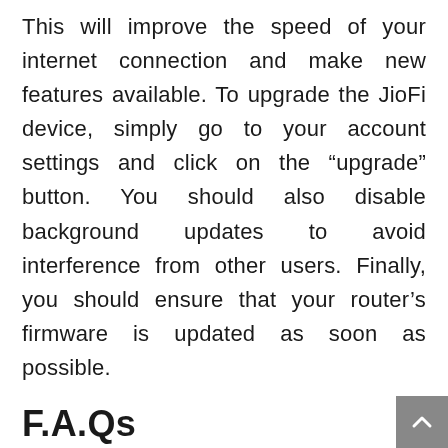This will improve the speed of your internet connection and make new features available. To upgrade the JioFi device, simply go to your account settings and click on the “upgrade” button. You should also disable background updates to avoid interference from other users. Finally, you should ensure that your router’s firmware is updated as soon as possible.
F.A.Qs
How do I log in to JioFiLocalHtml?
Open up any browser (Chrome, Edge, etc.) and input http://jiofi.local.html/ in the address bar. If you are using a JioFi Dongle use, please enter